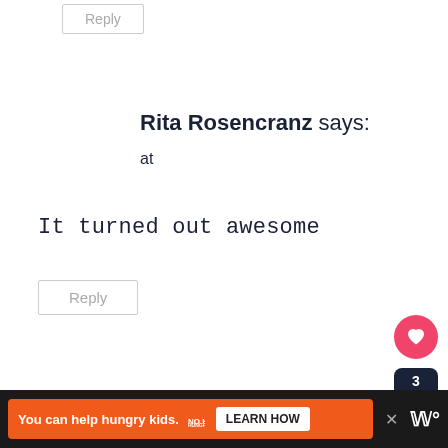Reply
Rita Rosencranz says:
at
It turned out awesome
Reply
Phyllis Roberts says:
You can help hungry kids. NO KID HUNGRY LEARN HOW